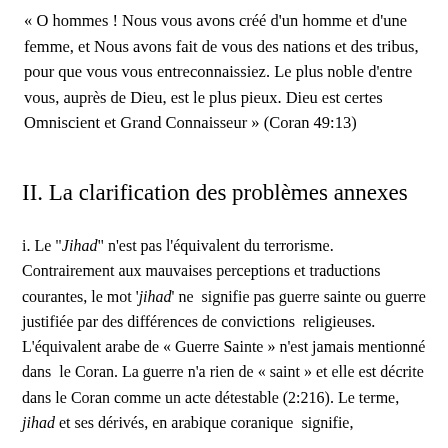« O hommes ! Nous vous avons créé d'un homme et d'une femme, et Nous avons fait de vous des nations et des tribus, pour que vous vous entreconnaissiez. Le plus noble d'entre vous, auprès de Dieu, est le plus pieux. Dieu est certes Omniscient et Grand Connaisseur » (Coran 49:13)
II. La clarification des problèmes annexes
i. Le "Jihad" n'est pas l'équivalent du terrorisme. Contrairement aux mauvaises perceptions et traductions courantes, le mot 'jihad' ne  signifie pas guerre sainte ou guerre justifiée par des différences de convictions  religieuses. L'équivalent arabe de « Guerre Sainte » n'est jamais mentionné dans  le Coran. La guerre n'a rien de « saint » et elle est décrite dans le Coran comme un acte détestable (2:216). Le terme, jihad et ses dérivés, en arabique coranique  signifie,